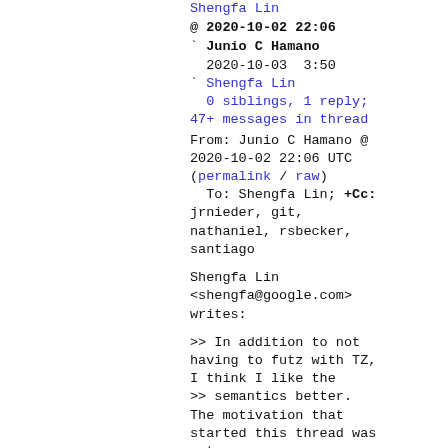Shengfa Lin
@ 2020-10-02 22:06
` Junio C Hamano
  2020-10-03  3:50
` Shengfa Lin
  0 siblings, 1 reply; 47+ messages in thread
From: Junio C Hamano @ 2020-10-02 22:06 UTC
(permalink / raw)
  To: Shengfa Lin; +Cc: jrnieder, git, nathaniel, rsbecker, santiago
Shengfa Lin <shengfa@google.com> writes:
>> In addition to not having to futz with TZ, I think I like the
>> semantics better.
The motivation that started this thread was not so
>> much "I want to set a custom timezone to blend in" but rather "why are
>> we recording the